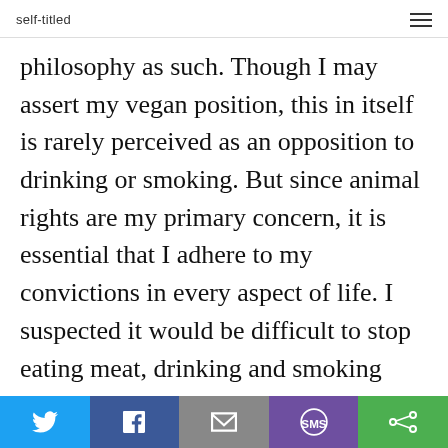self-titled
philosophy as such. Though I may assert my vegan position, this in itself is rarely perceived as an opposition to drinking or smoking. But since animal rights are my primary concern, it is essential that I adhere to my convictions in every aspect of life. I suspected it would be difficult to stop eating meat, drinking and smoking without a special reason.
Morshow has always been about anti
Share buttons: Twitter, Facebook, Email, SMS, Other